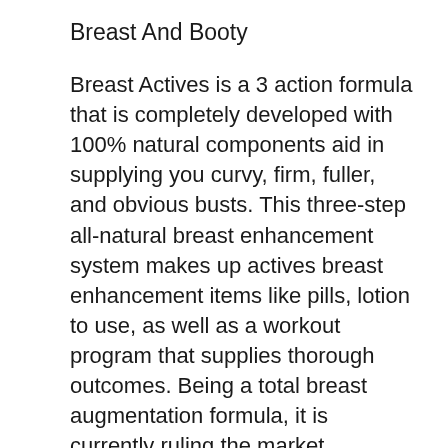Breast And Booty
Breast Actives is a 3 action formula that is completely developed with 100% natural components aid in supplying you curvy, firm, fuller, and obvious busts. This three-step all-natural breast enhancement system makes up actives breast enhancement items like pills, lotion to use, as well as a workout program that supplies thorough outcomes. Being a total breast augmentation formula, it is currently ruling the market.
What Are The Components In The Breast Actives System?
It is essential to look into the active ingredient checklist if you need an ideal pill. All the ingredients made use of in the